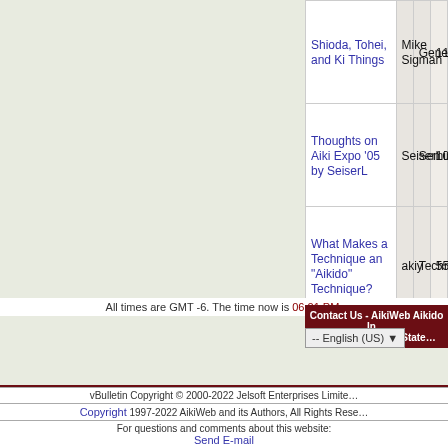| Topic | Author | Forum | Replies |
| --- | --- | --- | --- |
| Shioda, Tohei, and Ki Things | Mike Sigman | General | 118 |
| Thoughts on Aiki Expo '05 by SeiserL | SeiserL | Seminars | 10 |
| What Makes a Technique an "Aikido" Technique? | akiy | Techniques | 55 |
| Aiki Expo 05 Los Angeles | SeiserL | Seminars | 15 |
| Hello you Aiki Ju Jutsuka! | Kirby J Watson | Introductions | 2 |
All times are GMT -6. The time now is 06:01 PM.
Contact Us - AikiWeb Aikido Information Archive - Privacy Statement
-- English (US)
vBulletin Copyright © 2000-2022 Jelsoft Enterprises Limited
Copyright 1997-2022 AikiWeb and its Authors, All Rights Reserved
For questions and comments about this website: Send E-mail